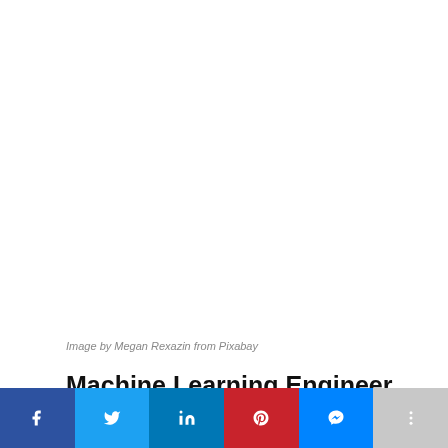[Figure (photo): Large white/blank image area at top of page (image content not visible in this crop)]
Image by Megan Rexazin from Pixabay
Machine Learning Engineer
[Figure (infographic): Social sharing bar at bottom with Facebook, Twitter, LinkedIn, Pinterest, Messenger, and More buttons]